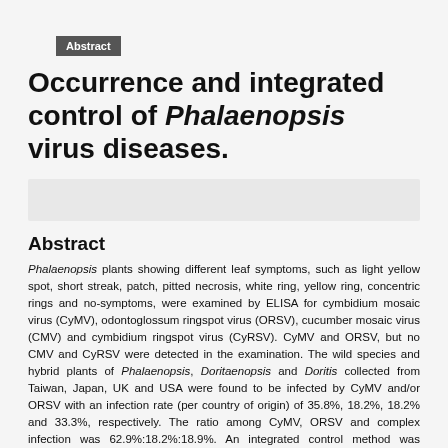Abstract
Occurrence and integrated control of Phalaenopsis virus diseases.
[Figure (other): Gray placeholder bar, likely an author affiliations or metadata strip]
Abstract
Phalaenopsis plants showing different leaf symptoms, such as light yellow spot, short streak, patch, pitted necrosis, white ring, yellow ring, concentric rings and no-symptoms, were examined by ELISA for cymbidium mosaic virus (CyMV), odontoglossum ringspot virus (ORSV), cucumber mosaic virus (CMV) and cymbidium ringspot virus (CyRSV). CyMV and ORSV, but no CMV and CyRSV were detected in the examination. The wild species and hybrid plants of Phalaenopsis, Doritaenopsis and Doritis collected from Taiwan, Japan, UK and USA were found to be infected by CyMV and/or ORSV with an infection rate (per country of origin) of 35.8%, 18.2%, 18.2% and 33.3%, respectively. The ratio among CyMV, ORSV and complex infection was 62.9%:18.2%:18.9%. An integrated control method was developed for